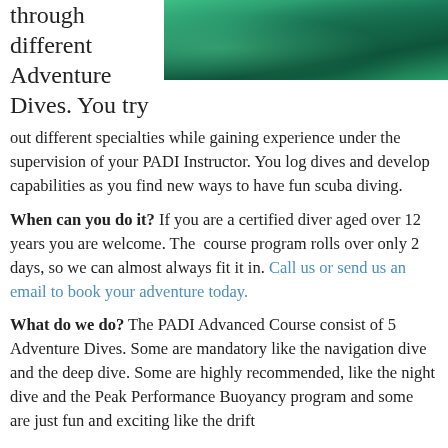through different Adventure Dives. You try out different specialties while gaining experience under the supervision of your PADI Instructor. You log dives and develop capabilities as you find new ways to have fun scuba diving.
[Figure (photo): Underwater photo showing coral reef with green tinted water and marine life]
When can you do it? If you are a certified diver aged over 12 years you are welcome. The course program rolls over only 2 days, so we can almost always fit it in. Call us or send us an email to book your adventure today.
What do we do? The PADI Advanced Course consist of 5 Adventure Dives. Some are mandatory like the navigation dive and the deep dive. Some are highly recommended, like the night dive and the Peak Performance Buoyancy program and some are just fun and exciting like the drift